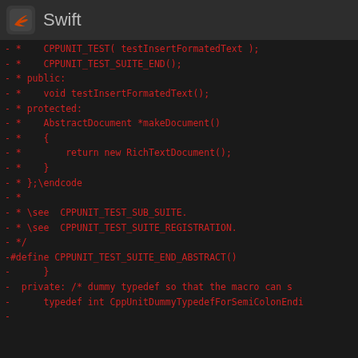Swift
- *    CPPUNIT_TEST( testInsertFormatedText );
- *    CPPUNIT_TEST_SUITE_END();
- * public:
- *    void testInsertFormatedText();
- * protected:
- *    AbstractDocument *makeDocument()
- *    {
- *        return new RichTextDocument();
- *    }
- * };\endcode
- *
- * \see  CPPUNIT_TEST_SUB_SUITE.
- * \see  CPPUNIT_TEST_SUITE_REGISTRATION.
- */
-#define CPPUNIT_TEST_SUITE_END_ABSTRACT()
-      }
-  private: /* dummy typedef so that the macro can s
-      typedef int CppUnitDummyTypedefForSemiColonEndi
-